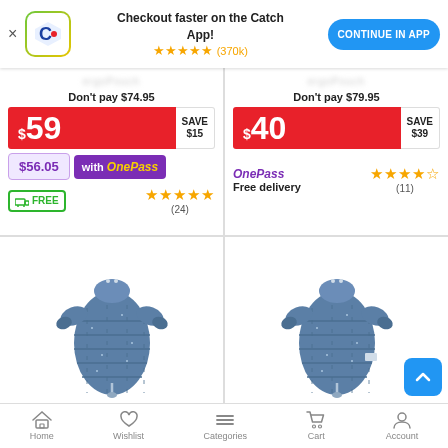[Figure (screenshot): Catch.com.au app banner with logo, 5-star rating (370k reviews), and 'Continue in App' button]
Checkout faster on the Catch App!
★★★★★ (370k)
CONTINUE IN APP
Don't pay $74.95
$59 SAVE $15
$56.05 with OnePass
FREE delivery ★★★★★ (24)
Don't pay $79.95
$40 SAVE $39
OnePass Free delivery ★★★★☆ (11)
[Figure (photo): Blue quilted baby sleeping bag with legs and removable arms]
[Figure (photo): Blue quilted baby sleeping bag with legs and removable arms (second product)]
Home | Wishlist | Categories | Cart | Account